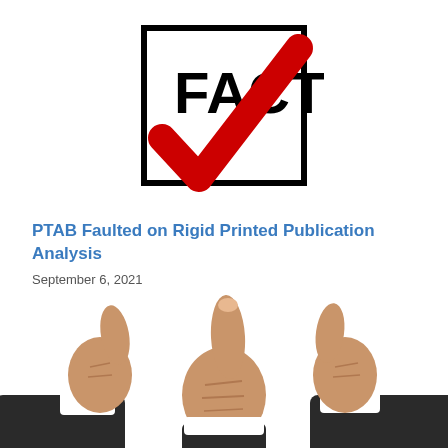[Figure (illustration): A checkbox with the word FACT in bold black text and a large red checkmark overlapping the box, on a white background.]
PTAB Faulted on Rigid Printed Publication Analysis
September 6, 2021
[Figure (photo): Two hands giving thumbs up gestures, one in the center wearing a dark suit sleeve with a white shirt cuff, partially cropped at the bottom of the page.]